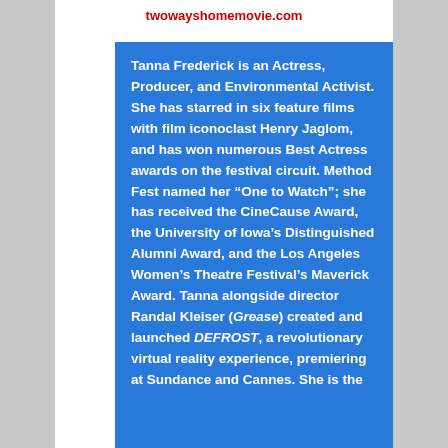twowayshomemovie.com
Tanna Frederick is an Actress, Producer, and Environmental Activist. She has starred in six feature films with film iconoclast Henry Jaglom, and has won numerous Best Actress awards on the festival circuit. Method Fest named her “One to Watch”; she has received the CineCause Award, the University of Iowa’s Distinguished Alumni Award, and the Los Angeles Women’s Theatre Festival’s Maverick Award. Tanna alongside director Randal Kleiser (Grease) created and launched DEFROST, a revolutionary virtual reality experience, premiering at Sundance and Cannes. She is the